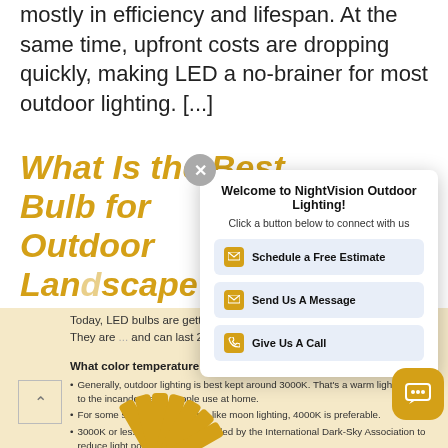mostly in efficiency and lifespan. At the same time, upfront costs are dropping quickly, making LED a no-brainer for most outdoor lighting. [...]
What Is the Best Bulb for Outdoor Landscape Lighting?
Today, LED bulbs are getting mu... any light temperature. They are ... and can last 20 times as long as...
[Figure (screenshot): Welcome to NightVision Outdoor Lighting popup with close button, subtitle 'Click a button below to connect with us', and three buttons: Schedule a Free Estimate, Send Us A Message, Give Us A Call]
What color temperature is best for outdoor lighting?
Generally, outdoor lighting is best kept around 3000K. That's a warm light, similar to the incandescents people use at home.
For some special applications, like moon lighting, 4000K is preferable.
3000K or less is also recommended by the International Dark-Sky Association to reduce light pollution.